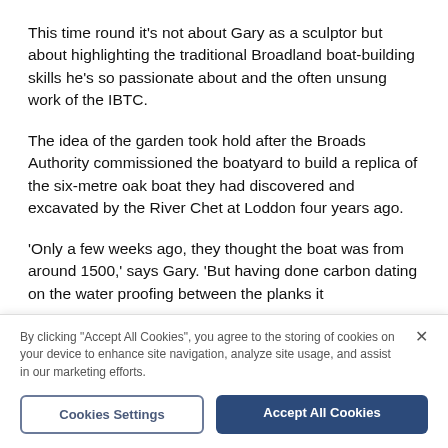This time round it's not about Gary as a sculptor but about highlighting the traditional Broadland boat-building skills he's so passionate about and the often unsung work of the IBTC.
The idea of the garden took hold after the Broads Authority commissioned the boatyard to build a replica of the six-metre oak boat they had discovered and excavated by the River Chet at Loddon four years ago.
'Only a few weeks ago, they thought the boat was from around 1500,' says Gary. 'But having done carbon dating on the water proofing between the planks it
By clicking "Accept All Cookies", you agree to the storing of cookies on your device to enhance site navigation, analyze site usage, and assist in our marketing efforts.
Cookies Settings
Accept All Cookies